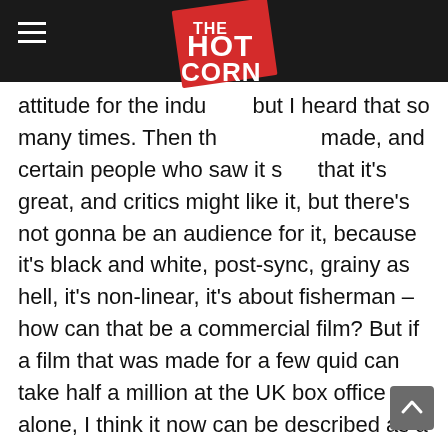THE HOT CORN (logo)
attitude for the industry, but I heard that so many times. Then the film was made, and certain people who saw it said that it's great, and critics might like it, but there's not gonna be an audience for it, because it's black and white, post-sync, grainy as hell, it's non-linear, it's about fisherman – how can that be a commercial film? But if a film that was made for a few quid can take half a million at the UK box office alone, I think it now can be described as a commercial hit. So that's given me a lot of faith in audiences, really, and their desire for something new. I've got that as an audience member, I wanna see new things not the same things over and over again, and that's the most exciting thing, and in some ways the most